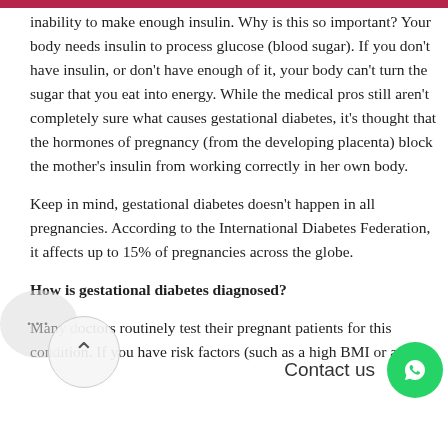inability to make enough insulin. Why is this so important? Your body needs insulin to process glucose (blood sugar). If you don't have insulin, or don't have enough of it, your body can't turn the sugar that you eat into energy. While the medical pros still aren't completely sure what causes gestational diabetes, it's thought that the hormones of pregnancy (from the developing placenta) block the mother's insulin from working correctly in her own body.
Keep in mind, gestational diabetes doesn't happen in all pregnancies. According to the International Diabetes Federation, it affects up to 15% of pregnancies across the globe.
How is gestational diabetes diagnosed?
Many doctors routinely test their pregnant patients for this condition. If you have risk factors (such as a high BMI or a